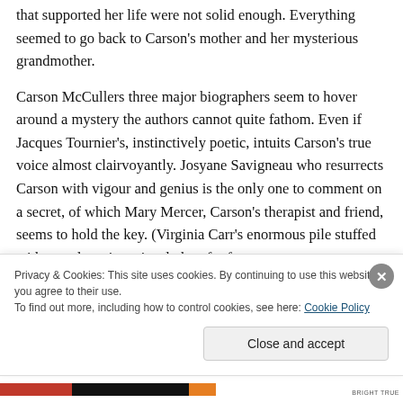that supported her life were not solid enough. Everything seemed to go back to Carson's mother and her mysterious grandmother.
Carson McCullers three major biographers seem to hover around a mystery the authors cannot quite fathom. Even if Jacques Tournier's, instinctively poetic, intuits Carson's true voice almost clairvoyantly. Josyane Savigneau who resurrects Carson with vigour and genius is the only one to comment on a secret, of which Mary Mercer, Carson's therapist and friend, seems to hold the key. (Virginia Carr's enormous pile stuffed with anecdotes is curiously bereft of
Privacy & Cookies: This site uses cookies. By continuing to use this website, you agree to their use.
To find out more, including how to control cookies, see here: Cookie Policy
Close and accept